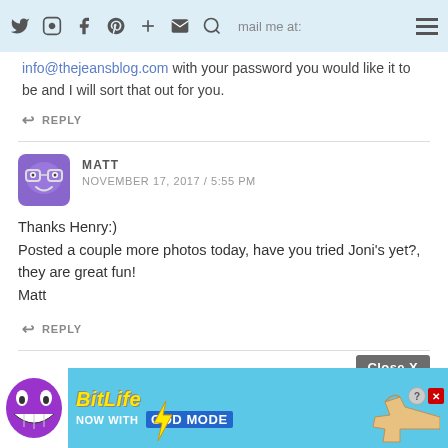Navigation bar with social icons and hamburger menu
info@thejeansblog.com with your password you would like it to be and I will sort that out for you.
REPLY
MATT
NOVEMBER 17, 2017 / 5:55 PM
Thanks Henry:)
Posted a couple more photos today, have you tried Joni’s yet?, they are great fun!
Matt
REPLY
Close X
[Figure (screenshot): BitLife advertisement banner: purple avatar with big smile, BitLife logo in yellow italic text, 'NOW WITH GOD MODE' subtitle, pointing hand graphic, close and question buttons]